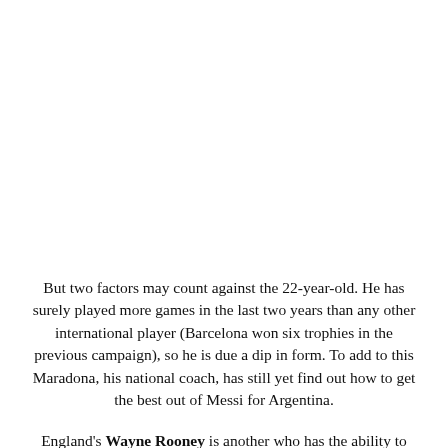But two factors may count against the 22-year-old. He has surely played more games in the last two years than any other international player (Barcelona won six trophies in the previous campaign), so he is due a dip in form. To add to this Maradona, his national coach, has still yet find out how to get the best out of Messi for Argentina.
England's Wayne Rooney is another who has the ability to shine after proving his worth with a superlative season for English side Manchester United. Top-scoring for his club with 26 goals in 32